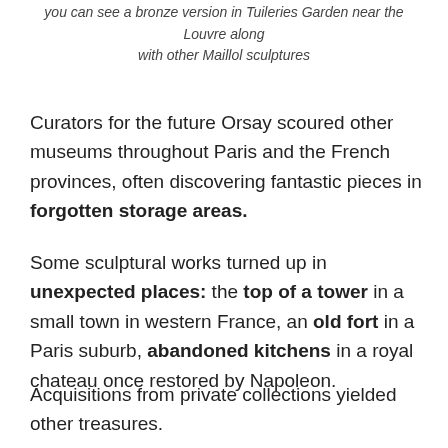you can see a bronze version in Tuileries Garden near the Louvre along with other Maillol sculptures
Curators for the future Orsay scoured other museums throughout Paris and the French provinces, often discovering fantastic pieces in forgotten storage areas.
Some sculptural works turned up in unexpected places: the top of a tower in a small town in western France, an old fort in a Paris suburb, abandoned kitchens in a royal chateau once restored by Napoleon.
Acquisitions from private collections yielded other treasures.